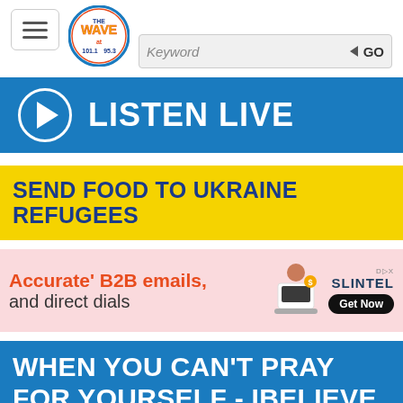[Figure (logo): The Wave radio station logo — circular badge with colorful 'The WAVE' text and frequency numbers]
Keyword GO
[Figure (infographic): LISTEN LIVE button with play icon on blue background]
[Figure (infographic): SEND FOOD TO UKRAINE REFUGEES banner on yellow background]
[Figure (infographic): Advertisement: Accurate B2B emails and direct dials - SLINTEL Get Now]
WHEN YOU CAN'T PRAY FOR YOURSELF - IBELIEVE TRUTH: A DEVOTIONAL